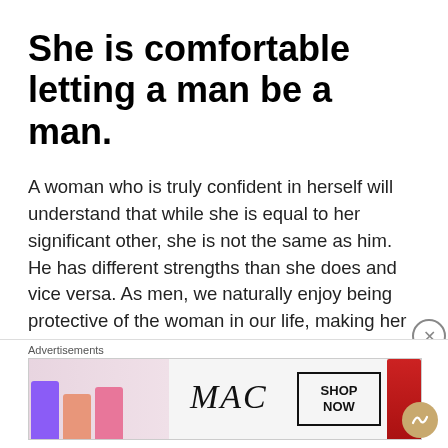She is comfortable letting a man be a man.
A woman who is truly confident in herself will understand that while she is equal to her significant other, she is not the same as him. He has different strengths than she does and vice versa. As men, we naturally enjoy being protective of the woman in our life, making her feel safe, doing small things for her to let her know we care.
A woman who denies a man these natural tendencies will (to most men) emasculate
Advertisements
[Figure (screenshot): MAC cosmetics advertisement banner showing colorful lipsticks on the left, MAC logo in the center in script lettering, a SHOP NOW button in a black border box, and a red lipstick on the right side.]